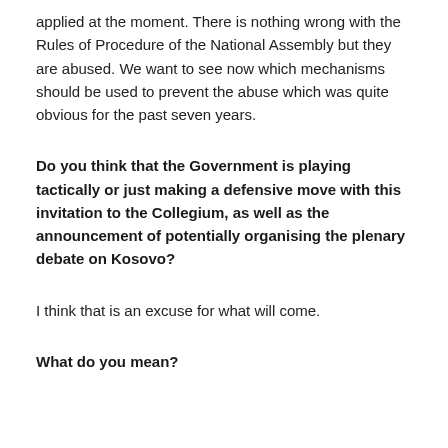applied at the moment. There is nothing wrong with the Rules of Procedure of the National Assembly but they are abused. We want to see now which mechanisms should be used to prevent the abuse which was quite obvious for the past seven years.
Do you think that the Government is playing tactically or just making a defensive move with this invitation to the Collegium, as well as the announcement of potentially organising the plenary debate on Kosovo?
I think that is an excuse for what will come.
What do you mean?